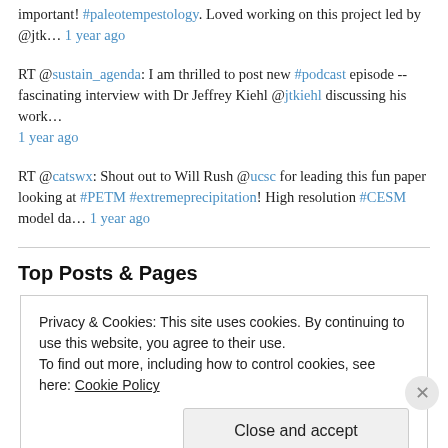important! #paleotempestology. Loved working on this project led by @jtk… 1 year ago
RT @sustain_agenda: I am thrilled to post new #podcast episode -- fascinating interview with Dr Jeffrey Kiehl @jtkiehl discussing his work… 1 year ago
RT @catswx: Shout out to Will Rush @ucsc for leading this fun paper looking at #PETM #extremeprecipitation! High resolution #CESM model da… 1 year ago
Top Posts & Pages
Privacy & Cookies: This site uses cookies. By continuing to use this website, you agree to their use.
To find out more, including how to control cookies, see here: Cookie Policy
Close and accept
REPORT THIS AD